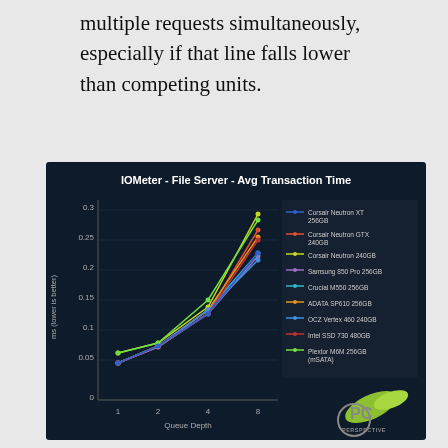multiple requests simultaneously, especially if that line falls lower than competing units.
[Figure (line-chart): IOMeter - File Server - Avg Transaction Time]